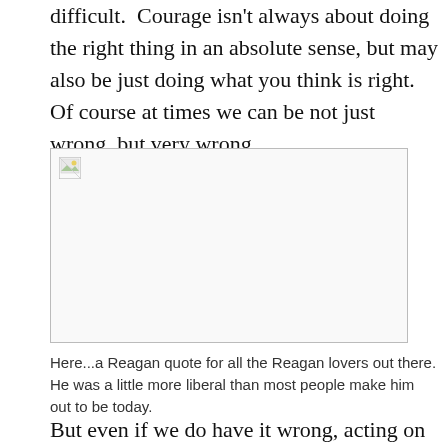difficult. Courage isn't always about doing the right thing in an absolute sense, but may also be just doing what you think is right. Of course at times we can be not just wrong, but very wrong.
[Figure (photo): Broken/missing image placeholder with small image icon in top-left corner, bordered rectangle]
Here...a Reagan quote for all the Reagan lovers out there. He was a little more liberal than most people make him out to be today.
But even if we do have it wrong, acting on what we